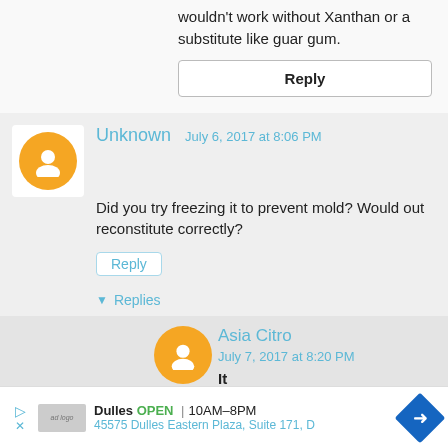wouldn't work without Xanthan or a substitute like guar gum.
Reply
Unknown   July 6, 2017 at 8:06 PM
Did you try freezing it to prevent mold? Would out reconstitute correctly?
Reply
▼ Replies
Asia Citro   July 7, 2017 at 8:20 PM
It
Dulles OPEN 10AM–8PM 45575 Dulles Eastern Plaza, Suite 171, D